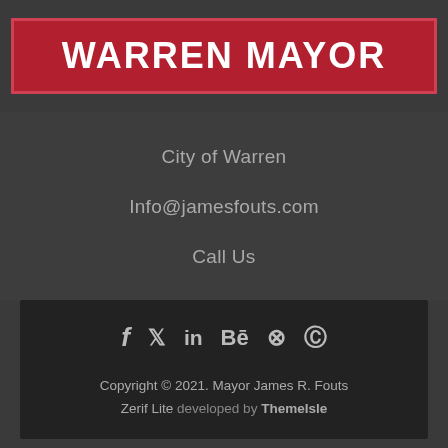[Figure (logo): Warren Mayor logo — white bold text on red background with border]
City of Warren
Info@jamesfouts.com
Call Us
[Figure (infographic): Social media icons row: Facebook, Twitter, LinkedIn, Behance, Dribbble, Instagram]
Copyright © 2021. Mayor James R. Fouts Zerif Lite developed by ThemeIsle